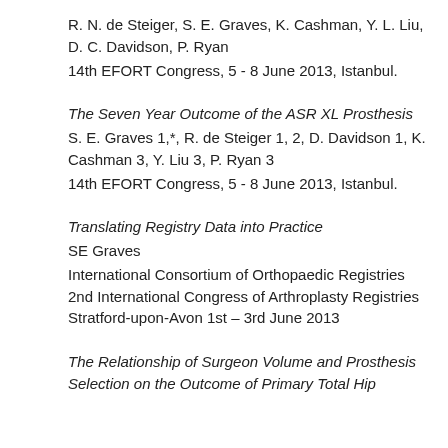R. N. de Steiger, S. E. Graves, K. Cashman, Y. L. Liu, D. C. Davidson, P. Ryan
14th EFORT Congress, 5 - 8 June 2013, Istanbul.
The Seven Year Outcome of the ASR XL Prosthesis
S. E. Graves 1,*, R. de Steiger 1, 2, D. Davidson 1, K. Cashman 3, Y. Liu 3, P. Ryan 3
14th EFORT Congress, 5 - 8 June 2013, Istanbul.
Translating Registry Data into Practice
SE Graves
International Consortium of Orthopaedic Registries
2nd International Congress of Arthroplasty Registries
Stratford-upon-Avon 1st – 3rd June 2013
The Relationship of Surgeon Volume and Prosthesis Selection on the Outcome of Primary Total Hip